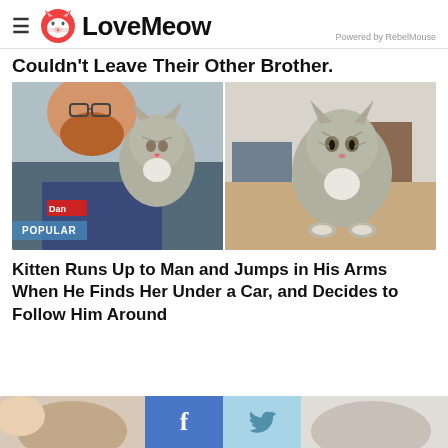LoveMeow — Powered by RebelMouse
Couldn't Leave Their Other Brother.
[Figure (photo): Split photo: left side shows a bearded man named Dan holding a gray tabby cat; right side shows a gray and white tabby cat standing on a desk looking at camera. A 'POPULAR' badge is overlaid on the bottom left.]
Kitten Runs Up to Man and Jumps in His Arms When He Finds Her Under a Car, and Decides to Follow Him Around
[Figure (photo): Bottom strip showing partial cat photos with Facebook and Twitter share buttons in the middle.]